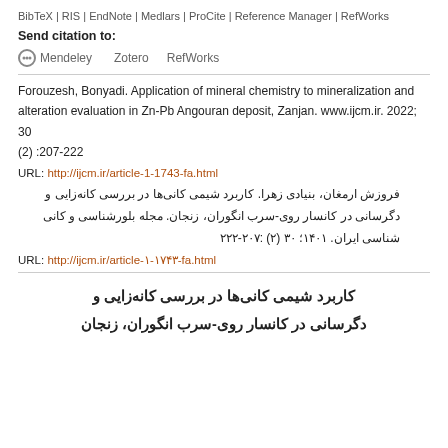BibTeX | RIS | EndNote | Medlars | ProCite | Reference Manager | RefWorks
Send citation to:
Mendeley   Zotero   RefWorks
Forouzesh, Bonyadi. Application of mineral chemistry to mineralization and alteration evaluation in Zn-Pb Angouran deposit, Zanjan. www.ijcm.ir. 2022; 30 (2) :207-222
URL: http://ijcm.ir/article-1-1743-fa.html
فروزش ارمغان، بنیادی زهرا. کاربرد شیمی کانی‌ها در بررسی کانه‌زایی و دگرسانی در کانسار روی-سرب انگوران، زنجان. مجله بلورشناسی و کانی شناسی ایران. ۱۴۰۱؛ ۳۰ (۲) :۲۰۷-۲۲۲
URL: http://ijcm.ir/article-۱-۱۷۴۳-fa.html
کاربرد شیمی کانی‌ها در بررسی کانه‌زایی و دگرسانی در کانسار روی-سرب انگوران، زنجان